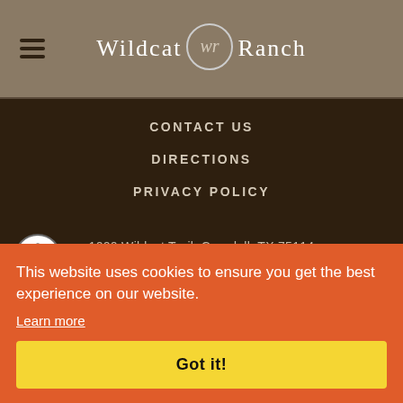Wildcat Ranch
CONTACT US
DIRECTIONS
PRIVACY POLICY
1000 Wildcat Trail, Crandall, TX 75114
9038
4
This website uses cookies to ensure you get the best experience on our website. Learn more
Got it!